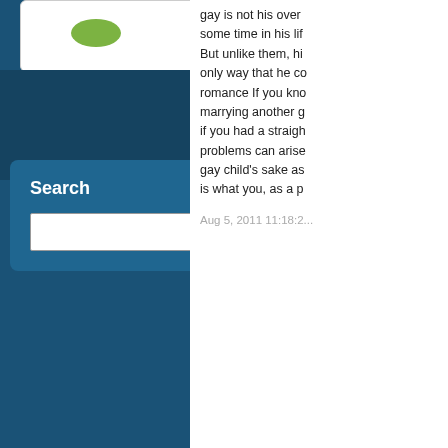[Figure (other): Avatar/profile image placeholder - green oval shape on white card]
Search
Search input field with Search button
gay is not his over... some time in his lif... But unlike them, hi... only way that he co... romance If you kno... marrying another g... if you had a straigh... problems can arise... gay child's sake as... is what you, as a p...
Aug 5, 2011 11:18:2...
Comm...
The comments to b...
Pr...
Marriage Or Coha... Affected Recently... briefly discussed hi...